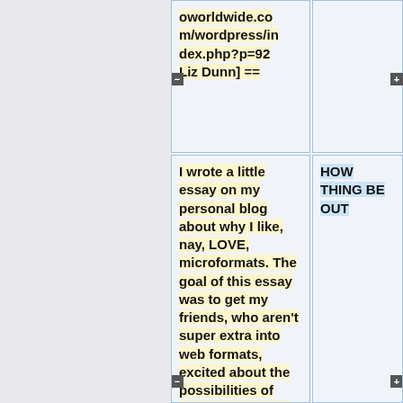oworldwide.com/wordpress/index.php?p=92 Liz Dunn] ==
I wrote a little essay on my personal blog about why I like, nay, LOVE, microformats. The goal of this essay was to get my friends, who aren't super extra into web formats, excited about the possibilities of microformats. I'm not sure it worked, since one friend
HOW THING BE OUT